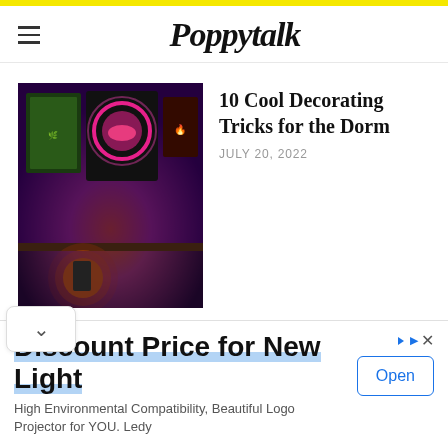Poppytalk
[Figure (photo): Dorm room with neon-lit blacklight posters and decorative items on a dark shelf]
10 Cool Decorating Tricks for the Dorm
JULY 20, 2022
[Figure (photo): Black and white geometric patterned rug with indigenous/tribal design motifs]
10 Indigenous Artists We Love
JUNE 21, 2022
Discount Price for New Light
High Environmental Compatibility, Beautiful Logo Projector for YOU. Ledy